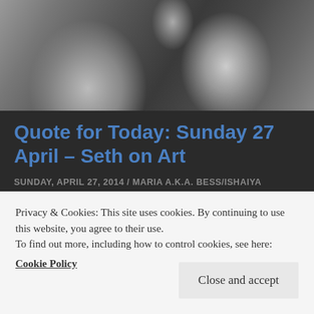[Figure (photo): Black and white photograph showing figures, partially visible at top of page]
Quote for Today: Sunday 27 April – Seth on Art
SUNDAY, APRIL 27, 2014 / MARIA A.K.A. BESS/ISHAIYA
Art is meant to be a bridge from one world to another; from an unseen world to a seen one, from an unheard world to a heard one. Some work and
Privacy & Cookies: This site uses cookies. By continuing to use this website, you agree to their use.
To find out more, including how to control cookies, see here:
Cookie Policy
Close and accept